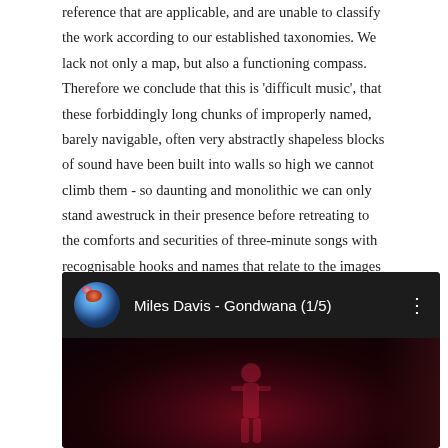reference that are applicable, and are unable to classify the work according to our established taxonomies. We lack not only a map, but also a functioning compass. Therefore we conclude that this is 'difficult music', that these forbiddingly long chunks of improperly named, barely navigable, often very abstractly shapeless blocks of sound have been built into walls so high we cannot climb them - so daunting and monolithic we can only stand awestruck in their presence before retreating to the comforts and securities of three-minute songs with recognisable hooks and names that relate to the images the tunes conjure or the lyrics a vocalist weaves in and around the tune.
[Figure (screenshot): YouTube video embed showing 'Miles Davis - Gondwana (1/5)' with a dark red/maroon background featuring a faint figure silhouette, a circular avatar with floral image on the left, and three-dot menu icon on the right.]